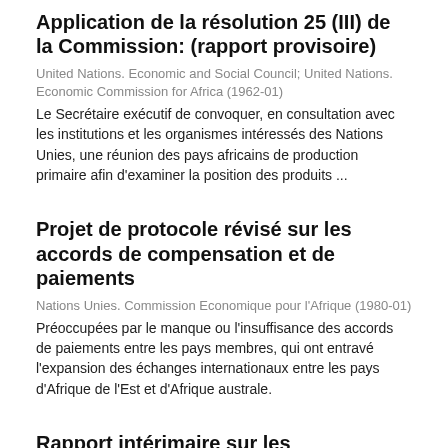Application de la résolution 25 (III) de la Commission: (rapport provisoire)
United Nations. Economic and Social Council; United Nations. Economic Commission for Africa (1962-01)
Le Secrétaire exécutif de convoquer, en consultation avec les institutions et les organismes intéressés des Nations Unies, une réunion des pays africains de production primaire afin d'examiner la position des produits ...
Projet de protocole révisé sur les accords de compensation et de paiements
Nations Unies. Commission Economique pour l'Afrique (1980-01)
Préoccupées par le manque ou l'insuffisance des accords de paiements entre les pays membres, qui ont entravé l'expansion des échanges internationaux entre les pays d'Afrique de l'Est et d'Afrique australe.
Rapport intérimaire sur les négociations